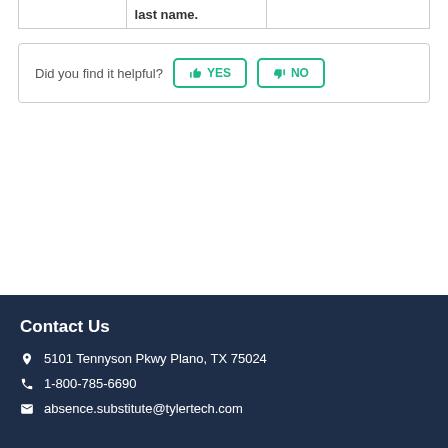|  | last name. |  |
Did you find it helpful? YES NO
Contact Us
5101 Tennyson Pkwy Plano, TX 75024
1-800-785-6690
absence.substitute@tylertech.com